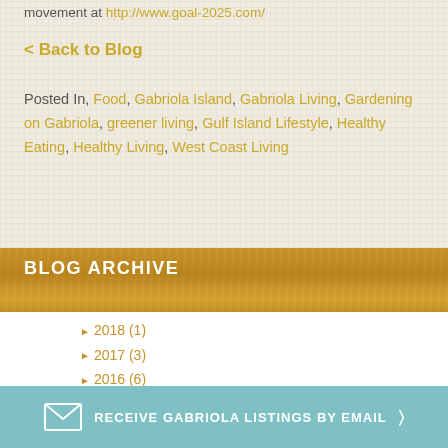movement at http://www.goal-2025.com/
< Back to Blog
Posted In, Food, Gabriola Island, Gabriola Living, Gardening on Gabriola, greener living, Gulf Island Lifestyle, Healthy Eating, Healthy Living, West Coast Living
BLOG ARCHIVE
2018 (1)
2017 (3)
2016 (6)
2015 (14)
RECEIVE GABRIOLA LISTINGS BY EMAIL